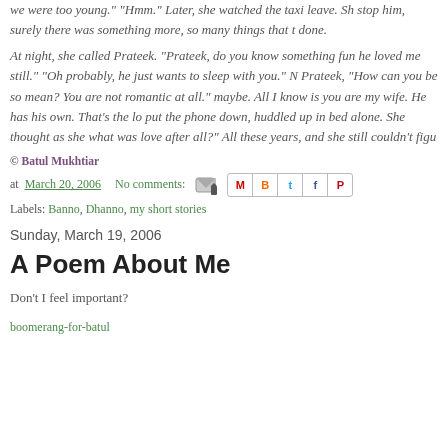we were too young." "Hmm." Later, she watched the taxi leave. She wanted to stop him, surely there was something more, so many things that they hadn't done.
At night, she called Prateek. "Prateek, do you know something funny? I think he loved me still." "Oh probably, he just wants to sleep with you." No, said Prateek, "How can you be so mean? You are not romantic at all." I am not, maybe. All I know is you are my wife. He has his own. That's the lo... She put the phone down, huddled up in bed alone. She thought as she drifted off, what was love after all?" All these years, and she still couldn't figu...
© Batul Mukhtiar
at March 20, 2006    No comments:
Labels: Banno, Dhanno, my short stories
Sunday, March 19, 2006
A Poem About Me
Don't I feel important?
boomerang-for-batul